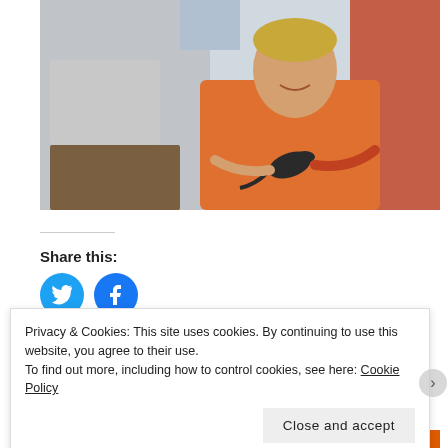[Figure (photo): A boy smiling and holding a small lizard/iguana, with two adults partially visible on either side. Outdoor setting with bright sky in the background.]
Share this:
[Figure (other): Twitter and Facebook share buttons (circular blue icons)]
Privacy & Cookies: This site uses cookies. By continuing to use this website, you agree to their use.
To find out more, including how to control cookies, see here: Cookie Policy
Close and accept